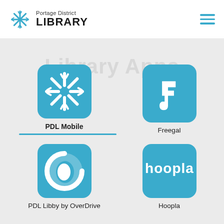Portage District LIBRARY
Library Apps
[Figure (logo): PDL Mobile app icon: teal square with white library snowflake/star logo]
PDL Mobile
[Figure (logo): Freegal app icon: teal square with white music note/f shape]
Freegal
[Figure (logo): PDL Libby by OverDrive app icon: teal square with white circular C shape]
PDL Libby by OverDrive
[Figure (logo): Hoopla app icon: teal square with white 'hoopla' text logo]
Hoopla